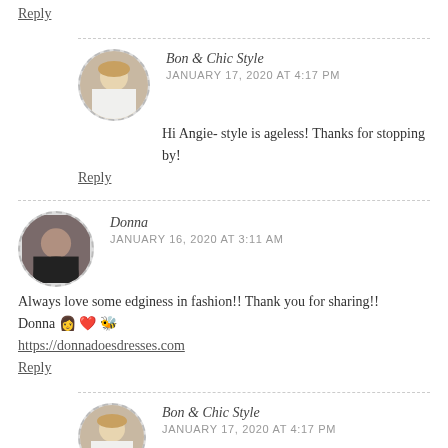Reply
Bon & Chic Style
JANUARY 17, 2020 AT 4:17 PM
Hi Angie- style is ageless! Thanks for stopping by!
Reply
Donna
JANUARY 16, 2020 AT 3:11 AM
Always love some edginess in fashion!! Thank you for sharing!!
Donna 👩❤️🐝
https://donnadoesdresses.com
Reply
Bon & Chic Style
JANUARY 17, 2020 AT 4:17 PM